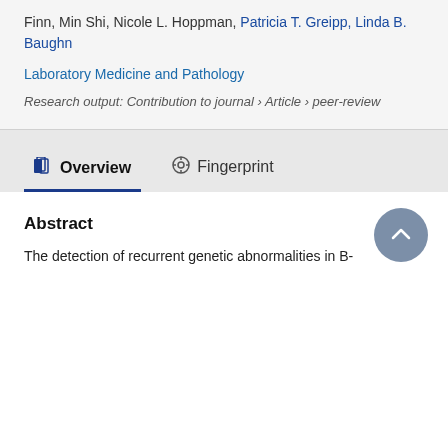Finn, Min Shi, Nicole L. Hoppman, Patricia T. Greipp, Linda B. Baughn
Laboratory Medicine and Pathology
Research output: Contribution to journal › Article › peer-review
Overview
Fingerprint
Abstract
The detection of recurrent genetic abnormalities in B-